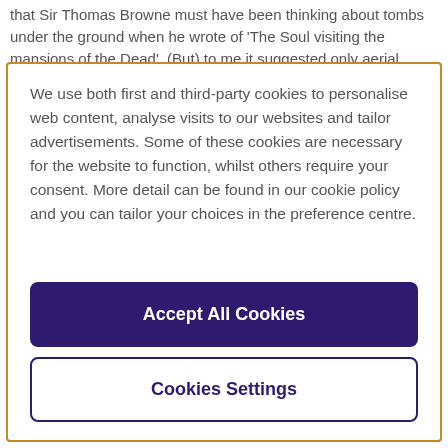that Sir Thomas Browne must have been thinking about tombs under the ground when he wrote of 'The Soul visiting the mansions of the Dead'. (But) to me it suggested only aerial
We use both first and third-party cookies to personalise web content, analyse visits to our websites and tailor advertisements. Some of these cookies are necessary for the website to function, whilst others require your consent. More detail can be found in our cookie policy and you can tailor your choices in the preference centre.
Accept All Cookies
Cookies Settings